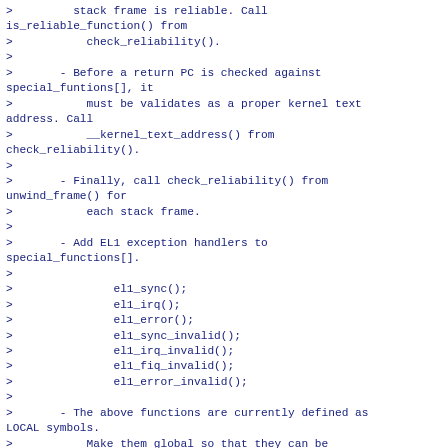>         stack frame is reliable. Call is_reliable_function() from
>           check_reliability().
>
>       - Before a return PC is checked against special_funtions[], it
>           must be validates as a proper kernel text address. Call
>           __kernel_text_address() from check_reliability().
>
>       - Finally, call check_reliability() from unwind_frame() for
>           each stack frame.
>
>       - Add EL1 exception handlers to special_functions[].
>
>               el1_sync();
>               el1_irq();
>               el1_error();
>               el1_sync_invalid();
>               el1_irq_invalid();
>               el1_fiq_invalid();
>               el1_error_invalid();
>
>       - The above functions are currently defined as LOCAL symbols.
>           Make them global so that they can be referenced from the
>           unwinder code.